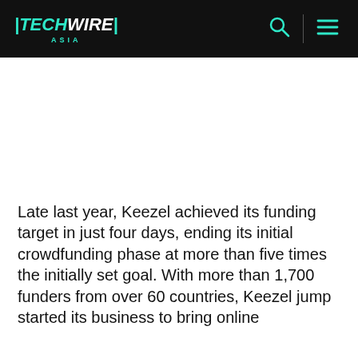TECHWIRE ASIA
Late last year, Keezel achieved its funding target in just four days, ending its initial crowdfunding phase at more than five times the initially set goal. With more than 1,700 funders from over 60 countries, Keezel jump started its business to bring online